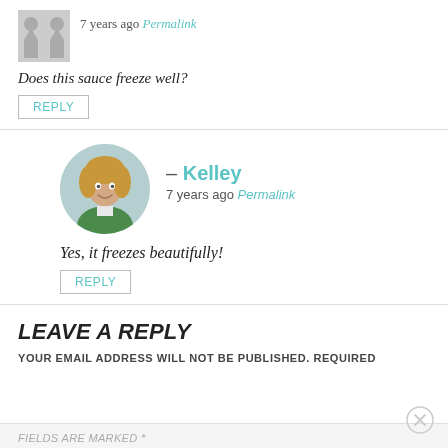7 years ago Permalink
Does this sauce freeze well?
REPLY
[Figure (photo): Circular profile photo of Kelley, a woman with curly hair, smiling]
– Kelley
7 years ago Permalink
Yes, it freezes beautifully!
REPLY
LEAVE A REPLY
YOUR EMAIL ADDRESS WILL NOT BE PUBLISHED. REQUIRED FIELDS ARE MARKED *